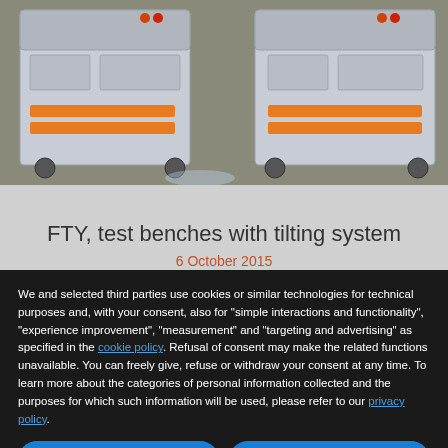[Figure (photo): Two industrial test bench carts with orange accent stripes, shown on a light-colored floor in a factory/lab setting.]
FTY, test benches with tilting system
6 October 2015
We and selected third parties use cookies or similar technologies for technical purposes and, with your consent, also for "simple interactions and functionality", "experience improvement", "measurement" and "targeting and advertising" as specified in the cookie policy. Refusal of consent may make the related functions unavailable. You can freely give, refuse or withdraw your consent at any time. To learn more about the categories of personal information collected and the purposes for which such information will be used, please refer to our privacy policy.